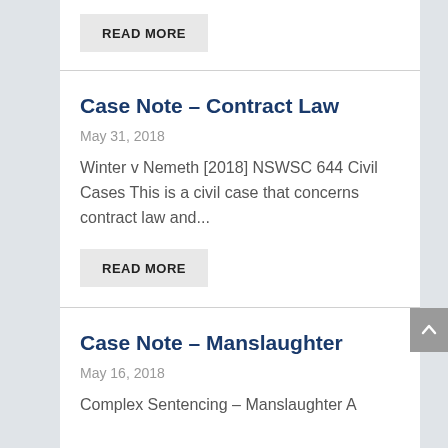READ MORE
Case Note – Contract Law
May 31, 2018
Winter v Nemeth [2018] NSWSC 644 Civil Cases This is a civil case that concerns contract law and...
READ MORE
Case Note – Manslaughter
May 16, 2018
Complex Sentencing – Manslaughter A